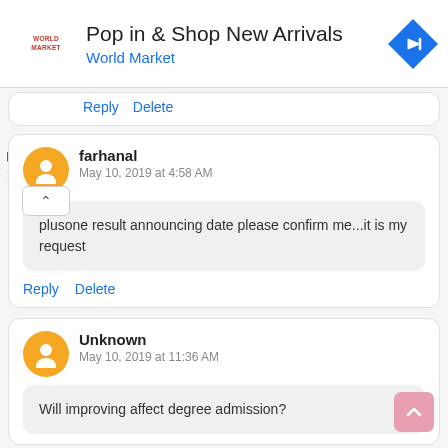[Figure (screenshot): Ad banner for World Market with logo, text 'Pop in & Shop New Arrivals', subtitle 'World Market', and a blue navigation icon]
Reply   Delete
farhanal
May 10, 2019 at 4:58 AM
plusone result announcing date please confirm me...it is my request
Reply   Delete
Unknown
May 10, 2019 at 11:36 AM
Will improving affect degree admission?